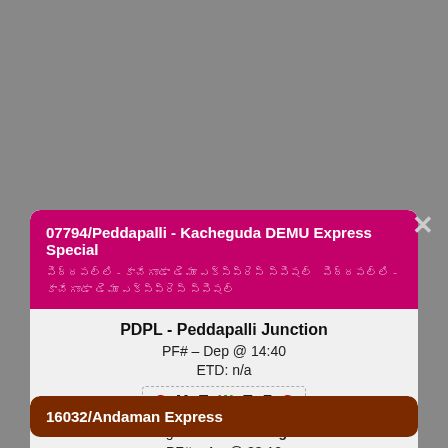07794/Peddapalli - Kacheguda DEMU Express Special
PDPL - Peddapalli Junction
PF# -- Dep @ 14:40
ETD: n/a
S M T W T F S (days)
Going to KCG - Kacheguda
PF# – Arr @ 23:10
Unreserved
No TT Change.
TT Updated: Dec 06 2021 (17:27) by 2113890/Leela Chamakuri
16032/Andaman Express